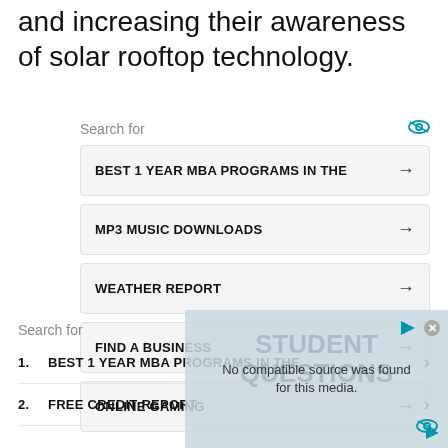and increasing their awareness of solar rooftop technology.
Search for
BEST 1 YEAR MBA PROGRAMS IN THE →
MP3 MUSIC DOWNLOADS →
WEATHER REPORT →
FIND A BUSINESS →
ONLINE GAMING →
Search for
1. BEST 1 YEAR MBA PROGRAMS IN THE ›
2. FREE CREDIT REPORT ›
[Figure (screenshot): Overlay showing 'No compatible source was found for this media.' with blurred background text about STUDENT Questions]